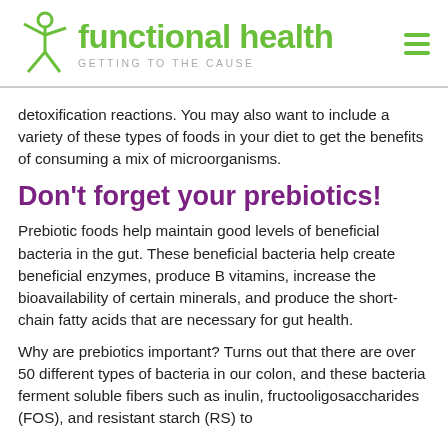functional health — GETTING TO THE CAUSE
detoxification reactions. You may also want to include a variety of these types of foods in your diet to get the benefits of consuming a mix of microorganisms.
Don't forget your prebiotics!
Prebiotic foods help maintain good levels of beneficial bacteria in the gut. These beneficial bacteria help create beneficial enzymes, produce B vitamins, increase the bioavailability of certain minerals, and produce the short-chain fatty acids that are necessary for gut health.
Why are prebiotics important? Turns out that there are over 50 different types of bacteria in our colon, and these bacteria ferment soluble fibers such as inulin, fructooligosaccharides (FOS), and resistant starch (RS) to ferment...